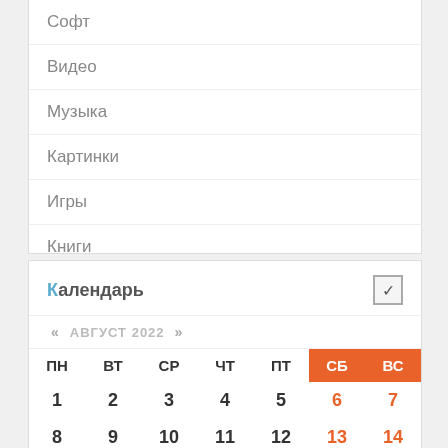Софт
Видео
Музыка
Картинки
Игры
Книги
Разное
Календарь
| ПН | ВТ | СР | ЧТ | ПТ | СБ | ВС |
| --- | --- | --- | --- | --- | --- | --- |
| 1 | 2 | 3 | 4 | 5 | 6 | 7 |
| 8 | 9 | 10 | 11 | 12 | 13 | 14 |